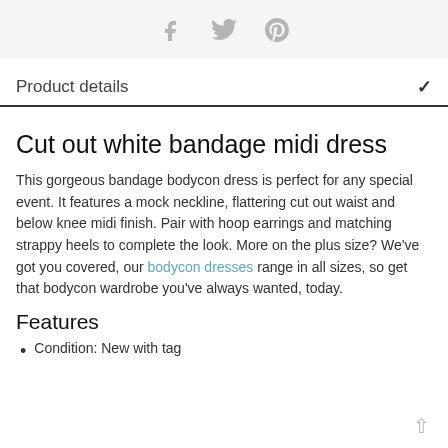[social icons: Facebook, Twitter, Pinterest]
Product details
Cut out white bandage midi dress
This gorgeous bandage bodycon dress is perfect for any special event. It features a mock neckline, flattering cut out waist and below knee midi finish. Pair with hoop earrings and matching strappy heels to complete the look. More on the plus size? We've got you covered, our bodycon dresses range in all sizes, so get that bodycon wardrobe you've always wanted, today.
Features
Condition: New with tag